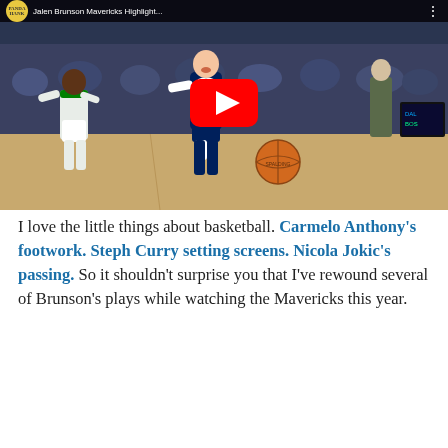[Figure (screenshot): YouTube video thumbnail showing Jalen Brunson Mavericks highlights. A basketball player in dark navy uniform drives past a defender in white Celtics uniform. A large red YouTube play button is centered on the image. The top bar shows the channel name PANDAHANKAT MAVSHERIGHTS and video title 'Jalen Brunson Mavericks Highlight...']
I love the little things about basketball. Carmelo Anthony's footwork. Steph Curry setting screens. Nicola Jokic's passing. So it shouldn't surprise you that I've rewound several of Brunson's plays while watching the Mavericks this year.